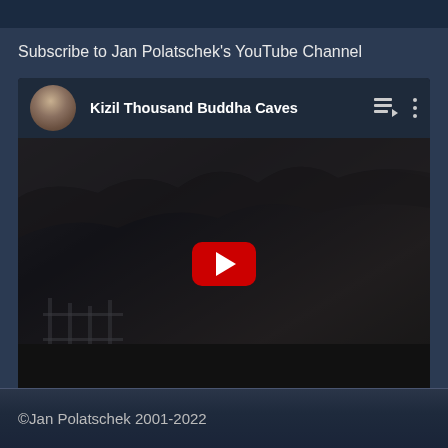Subscribe to Jan Polatschek's YouTube Channel
[Figure (screenshot): YouTube video embed showing 'Kizil Thousand Buddha Caves' with a dark thumbnail of cave ruins, a red play button in the center, and a circular avatar of a person in the top-left corner]
©Jan Polatschek 2001-2022